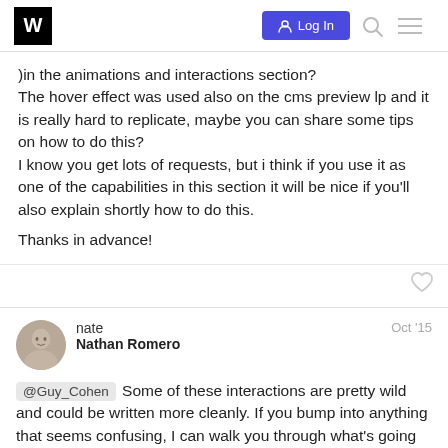W  Log In
)in the animations and interactions section?
The hover effect was used also on the cms preview lp and it is really hard to replicate, maybe you can share some tips on how to do this?
I know you get lots of requests, but i think if you use it as one of the capabilities in this section it will be nice if you'll also explain shortly how to do this.

Thanks in advance!
nate
Nathan Romero
Oct '15
@Guy_Cohen Some of these interactions are pretty wild and could be written more cleanly. If you bump into anything that seems confusing, I can walk you through what's going on.